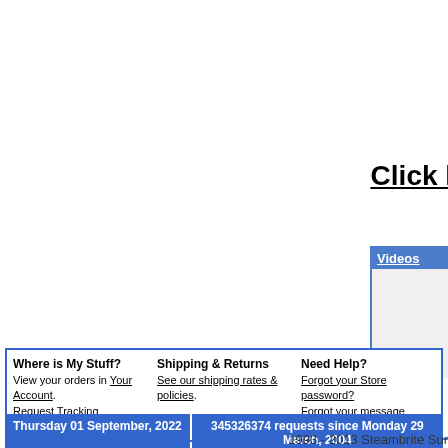Click he
[Figure (screenshot): Videos panel with blue header labeled 'Videos', gray content area with 'Coul' text partially visible, and 'Hydrosha' link at bottom]
Where is My Stuff? View your orders in Your Account. Request Tracking Information by email.
Shipping & Returns See our shipping rates & policies.
Need Help? Forgot your Store password? Forgot your message board password?
Thursday 01 September, 2022
345326374 requests since Monday 29 March, 2004
1993 - 2013 Steambrite Sur